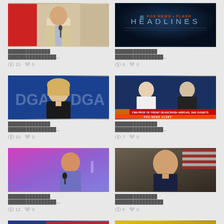[Figure (photo): Man in beige blazer speaking at podium with red background]
██████████████████████████...
👁 15   ♡ 0
[Figure (screenshot): Fox News Flash Headlines dark blue background]
██████████████████████████...
👁 8   ♡ 0
[Figure (photo): Blonde woman at DGA Awards blue background]
██████████████████████████...
👁 10   ♡ 0
[Figure (screenshot): Fox News Alert TV segment with two anchors]
██████████████████████████...
👁 7   ♡ 0
[Figure (photo): Man speaking on stage with pink/purple background]
██████████████████████████....
👁 12   ♡ 0
[Figure (photo): Bald man in suit with American flag]
██████████████████████████
👁 6   ♡ 0
[Figure (photo): Man with American flag background]
[Figure (photo): Man at LOCA event yellow background]